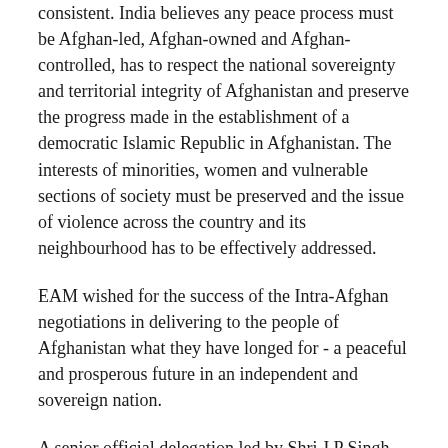consistent. India believes any peace process must be Afghan-led, Afghan-owned and Afghan-controlled, has to respect the national sovereignty and territorial integrity of Afghanistan and preserve the progress made in the establishment of a democratic Islamic Republic in Afghanistan. The interests of minorities, women and vulnerable sections of society must be preserved and the issue of violence across the country and its neighbourhood has to be effectively addressed.
EAM wished for the success of the Intra-Afghan negotiations in delivering to the people of Afghanistan what they have longed for - a peaceful and prosperous future in an independent and sovereign nation.
A senior official delegation led by Shri J P Singh, Joint Secretary (PAI) in the Ministry of External Affairs participated in the inaugural ceremony in Doha.
New Delhi